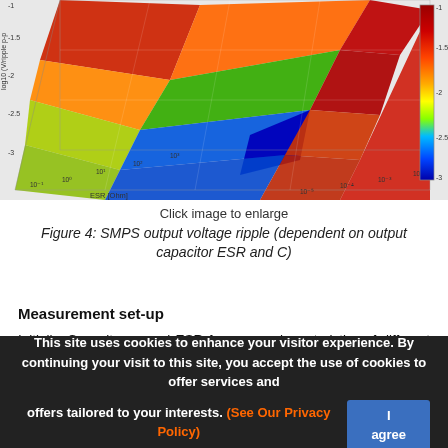[Figure (continuous-plot): 3D surface plot of SMPS output voltage ripple as a function of output capacitor ESR [Ohm] and Cout [F]. The z-axis shows log10(V_ripple p-p). The surface has a rainbow colormap (blue=low, red=high). A deep valley (blue/green) runs diagonally. Axes labels: ESR [Ohm] on x-axis, Cout [F] on y-axis, log10(V/ripple p-p) on z-axis. Color bar on right side shows scale from -3 to -1.]
Click image to enlarge
Figure 4: SMPS output voltage ripple (dependent on output capacitor ESR and C)
Measurement set-up
Initially, Capacitance and ESR frequency characteristics of different capacitors were measured on 5V output rail using an HP 4194A impedance/gain-phase analyzer [5] in a frequency range of 120Hz to 1MHz (capacitance) and 120Hz to 10MHz
This site uses cookies to enhance your visitor experience. By continuing your visit to this site, you accept the use of cookies to offer services and offers tailored to your interests. (See Our Privacy Policy)  I agree